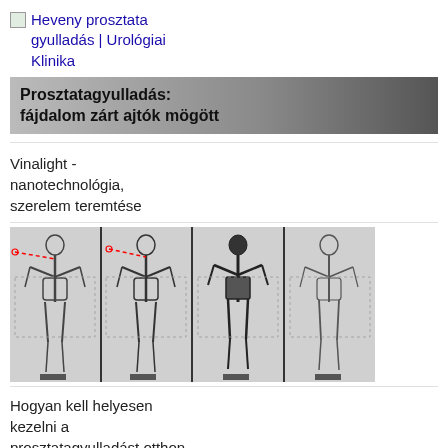Heveny prosztata gyulladás | Urológiai Klinika
Prosztatagyulladás: fájdalom zárt ajtók mögött
Vinalight - nanotechnológia, szerelem teremtése
[Figure (photo): Nuclear medicine bone scan images showing four views of a human skeleton (front and back), with red dashed lines marking areas of interest near the shoulder/neck region.]
Hogyan kell helyesen kezelni a prosztatagyulladást otthon
Prosztata-megnagyobbodás tünetei és kezelése
A prosztata mérete